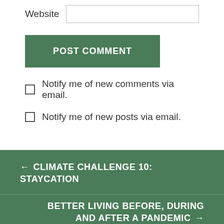Website
POST COMMENT
Notify me of new comments via email.
Notify me of new posts via email.
← CLIMATE CHALLENGE 10: STAYCATION
BETTER LIVING BEFORE, DURING AND AFTER A PANDEMIC →